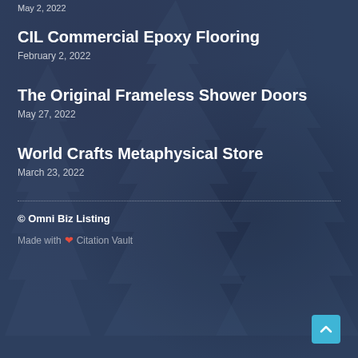May 2, 2022
CIL Commercial Epoxy Flooring
February 2, 2022
The Original Frameless Shower Doors
May 27, 2022
World Crafts Metaphysical Store
March 23, 2022
© Omni Biz Listing
Made with ❤ Citation Vault